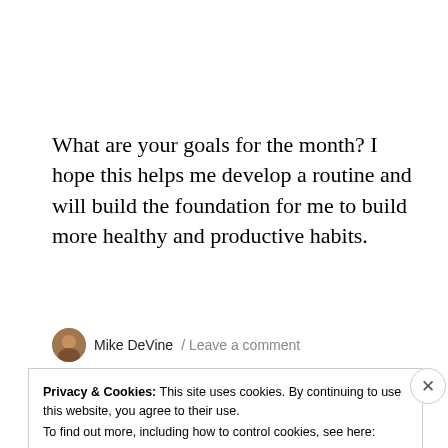What are your goals for the month? I hope this helps me develop a routine and will build the foundation for me to build more healthy and productive habits.
Mike DeVine / Leave a comment
Privacy & Cookies: This site uses cookies. By continuing to use this website, you agree to their use.
To find out more, including how to control cookies, see here:
Cookie Policy
Close and accept